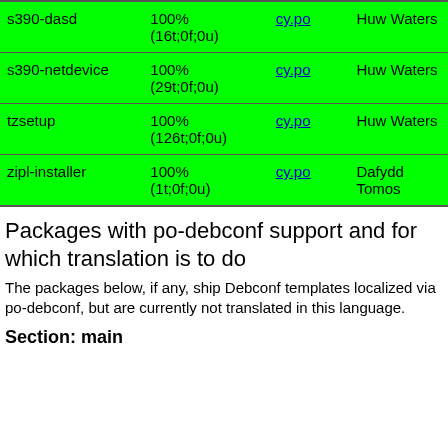| Package | Percent | File | Translator |
| --- | --- | --- | --- |
| s390-dasd | 100% (16t;0f;0u) | cy.po | Huw Waters |
| s390-netdevice | 100% (29t;0f;0u) | cy.po | Huw Waters |
| tzsetup | 100% (126t;0f;0u) | cy.po | Huw Waters |
| zipl-installer | 100% (1t;0f;0u) | cy.po | Dafydd Tomos |
Packages with po-debconf support and for which translation is to do
The packages below, if any, ship Debconf templates localized via po-debconf, but are currently not translated in this language.
Section: main